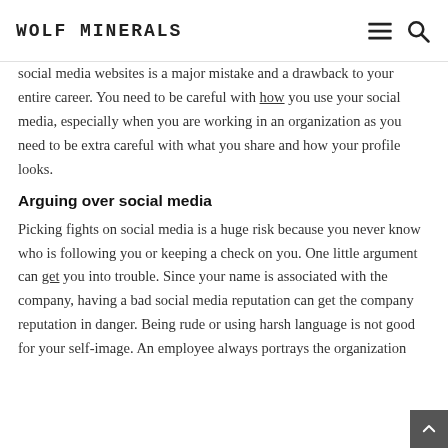WOLF MINERALS
social media websites is a major mistake and a drawback to your entire career. You need to be careful with how you use your social media, especially when you are working in an organization as you need to be extra careful with what you share and how your profile looks.
Arguing over social media
Picking fights on social media is a huge risk because you never know who is following you or keeping a check on you. One little argument can get you into trouble. Since your name is associated with the company, having a bad social media reputation can get the company reputation in danger. Being rude or using harsh language is not good for your self-image. An employee always portrays the organization